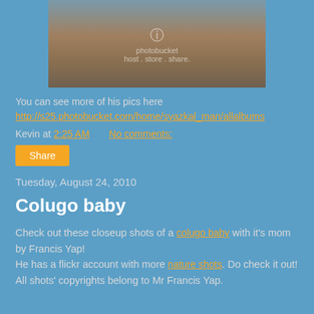[Figure (photo): Photo of otters in water with a Photobucket watermark overlay]
You can see more of his pics here
http://s25.photobucket.com/home/syazkal_man/allalbums
Kevin at 2:25 AM    No comments:
Share
Tuesday, August 24, 2010
Colugo baby
Check out these closeup shots of a colugo baby with it's mom by Francis Yap!
He has a flickr account with more nature shots. Do check it out! All shots' copyrights belong to Mr Francis Yap.